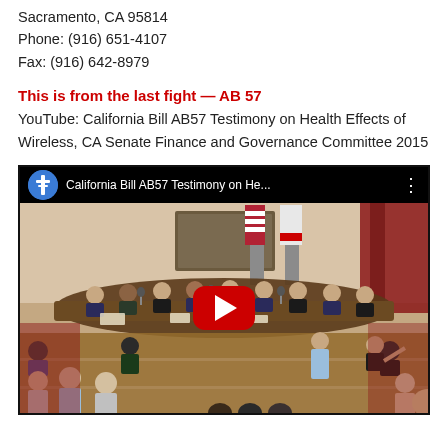Sacramento, CA 95814
Phone: (916) 651-4107
Fax: (916) 642-8979
This is from the last fight — AB 57
YouTube: California Bill AB57 Testimony on Health Effects of Wireless, CA Senate Finance and Governance Committee 2015
[Figure (screenshot): YouTube video thumbnail showing California Bill AB57 Testimony on Health Effects of Wireless, with a committee hearing room scene and a red YouTube play button overlay. Title bar reads: 'California Bill AB57 Testimony on He...']